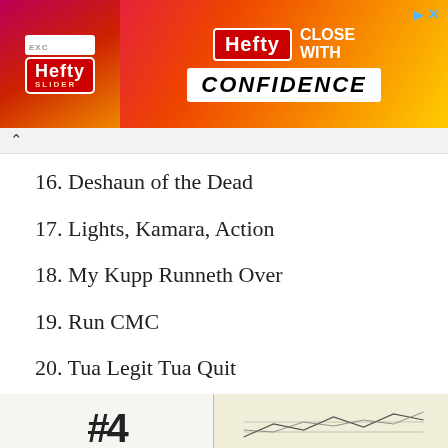[Figure (photo): Hefty Slider Bags advertisement banner with pink/orange/yellow gradient background, Hefty logo in red box, 'CLOSE WITH CONFIDENCE' text]
16. Deshaun of the Dead
17. Lights, Kamara, Action
18. My Kupp Runneth Over
19. Run CMC
20. Tua Legit Tua Quit
[Figure (photo): Bottom portion of an image showing paper with handwritten hashtag/number signs and what appears to be a map or chart on yellow paper]